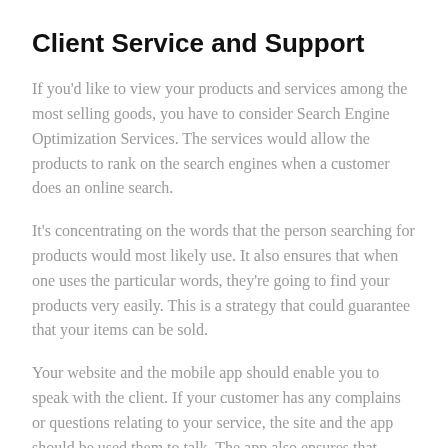Client Service and Support
If you'd like to view your products and services among the most selling goods, you have to consider Search Engine Optimization Services. The services would allow the products to rank on the search engines when a customer does an online search.
It's concentrating on the words that the person searching for products would most likely use. It also ensures that when one uses the particular words, they're going to find your products very easily. This is a strategy that could guarantee that your items can be sold.
Your website and the mobile app should enable you to speak with the client. If your customer has any complains or questions relating to your service, the site and the app should be used them to talk. The app also ensures that...